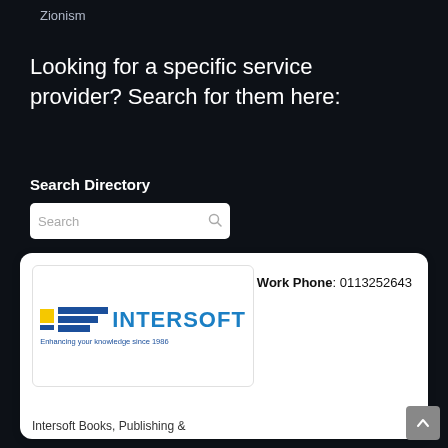Zionism
Looking for a specific service provider? Search for them here:
Search Directory
[Figure (screenshot): Search input box with placeholder text 'Search' and a magnifying glass icon]
[Figure (logo): Intersoft logo — blue bars icon with yellow square, text 'INTERSOFT' in blue, tagline 'Enhancing your knowledge since 1986']
Work Phone: 0113252643
Intersoft Books, Publishing &